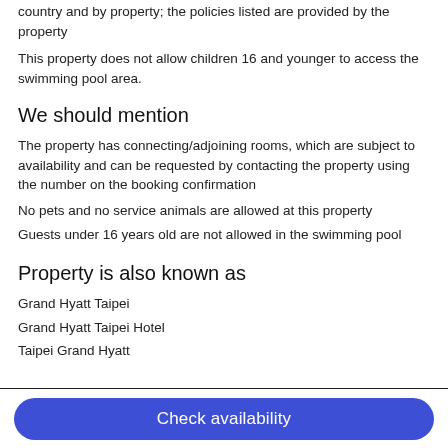country and by property; the policies listed are provided by the property
This property does not allow children 16 and younger to access the swimming pool area.
We should mention
The property has connecting/adjoining rooms, which are subject to availability and can be requested by contacting the property using the number on the booking confirmation
No pets and no service animals are allowed at this property
Guests under 16 years old are not allowed in the swimming pool
Property is also known as
Grand Hyatt Taipei
Grand Hyatt Taipei Hotel
Taipei Grand Hyatt
Check availability